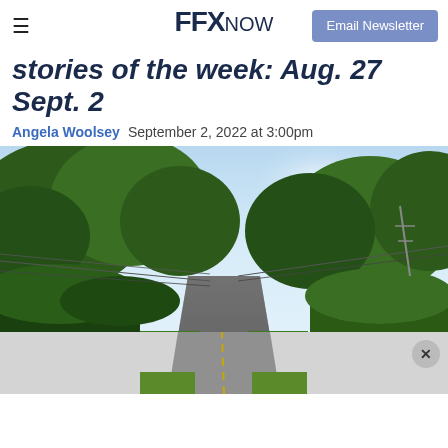FFX NOW — Email Newsletter
stories of the week: Aug. 27 – Sept. 2
Angela Woolsey  September 2, 2022 at 3:00pm
[Figure (photo): A paved road flanked by lush green trees and vegetation on both sides, with power lines visible above. The sky is bright blue with some haze. The road curves gently into the distance under summer foliage.]